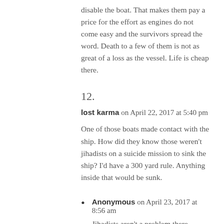disable the boat. That makes them pay a price for the effort as engines do not come easy and the survivors spread the word. Death to a few of them is not as great of a loss as the vessel. Life is cheap there.
12.
lost karma on April 22, 2017 at 5:40 pm
One of those boats made contact with the ship. How did they know those weren't jihadists on a suicide mission to sink the ship? I'd have a 300 yard rule. Anything inside that would be sunk.
Anonymous on April 23, 2017 at 8:56 am
Jihadists aren't a problem there, pirates are.